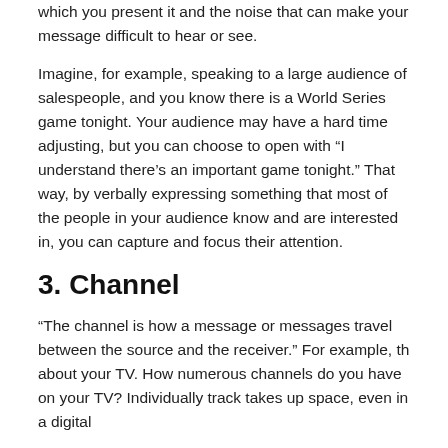which you present it and the noise that can make your message difficult to hear or see.
Imagine, for example, speaking to a large audience of salespeople, and you know there is a World Series game tonight. Your audience may have a hard time adjusting, but you can choose to open with “I understand there’s an important game tonight.” That way, by verbally expressing something that most of the people in your audience know and are interested in, you can capture and focus their attention.
3. Channel
“The channel is how a message or messages travel between the source and the receiver.” For example, th about your TV. How numerous channels do you have on your TV? Individually track takes up space, even in a digital